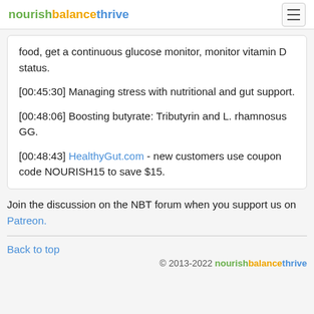nourishbalancethrive [hamburger menu]
food, get a continuous glucose monitor, monitor vitamin D status.
[00:45:30] Managing stress with nutritional and gut support.
[00:48:06] Boosting butyrate: Tributyrin and L. rhamnosus GG.
[00:48:43] HealthyGut.com - new customers use coupon code NOURISH15 to save $15.
Join the discussion on the NBT forum when you support us on Patreon.
Back to top
© 2013-2022 nourishbalancethrive